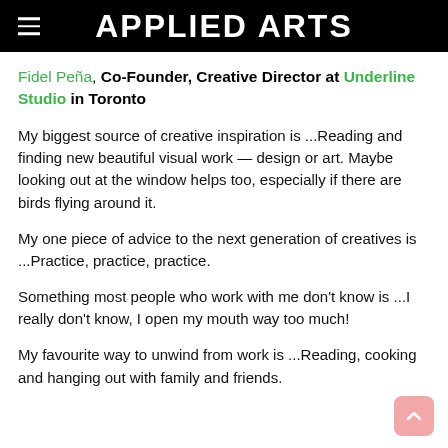APPLIED ARTS
Fidel Peña, Co-Founder, Creative Director at Underline Studio in Toronto
My biggest source of creative inspiration is ...Reading and finding new beautiful visual work — design or art. Maybe looking out at the window helps too, especially if there are birds flying around it.
My one piece of advice to the next generation of creatives is ...Practice, practice, practice.
Something most people who work with me don't know is ...I really don't know, I open my mouth way too much!
My favourite way to unwind from work is ...Reading, cooking and hanging out with family and friends.